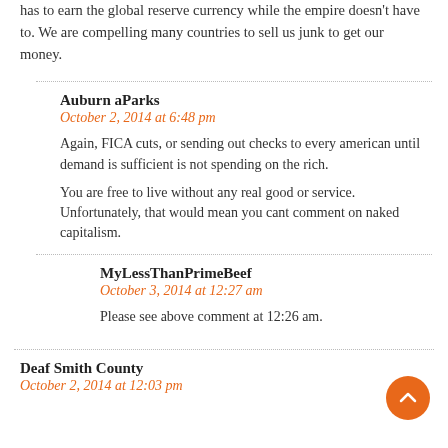has to earn the global reserve currency while the empire doesn't have to. We are compelling many countries to sell us junk to get our money.
Auburn aParks
October 2, 2014 at 6:48 pm
Again, FICA cuts, or sending out checks to every american until demand is sufficient is not spending on the rich.
You are free to live without any real good or service. Unfortunately, that would mean you cant comment on naked capitalism.
MyLessThanPrimeBeef
October 3, 2014 at 12:27 am
Please see above comment at 12:26 am.
Deaf Smith County
October 2, 2014 at 12:03 pm